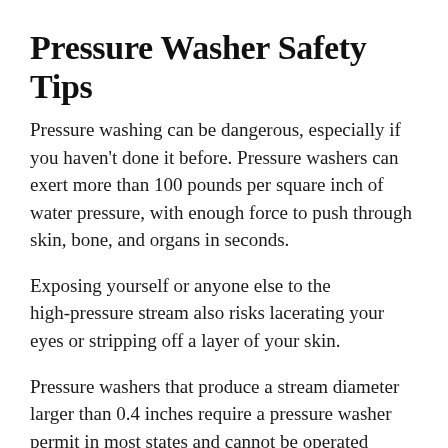Pressure Washer Safety Tips
Pressure washing can be dangerous, especially if you haven't done it before. Pressure washers can exert more than 100 pounds per square inch of water pressure, with enough force to push through skin, bone, and organs in seconds.
Exposing yourself or anyone else to the high-pressure stream also risks lacerating your eyes or stripping off a layer of your skin.
Pressure washers that produce a stream diameter larger than 0.4 inches require a pressure washer permit in most states and cannot be operated without a hood or safety glasses.
Pressure washer permits are unnecessary for smaller models used on patios, decks, or outside areas as long as the model has a non-adjustable